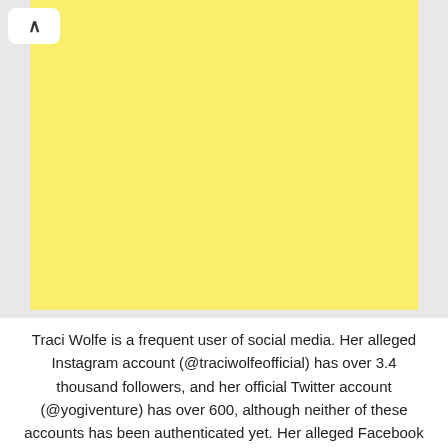[Figure (illustration): Large yellow/light yellow rectangular image placeholder occupying most of the upper portion of the page]
Traci Wolfe is a frequent user of social media. Her alleged Instagram account (@traciwolfeofficial) has over 3.4 thousand followers, and her official Twitter account (@yogiventure) has over 600, although neither of these accounts has been authenticated yet. Her alleged Facebook page (@IAmTraciWolfe) also has